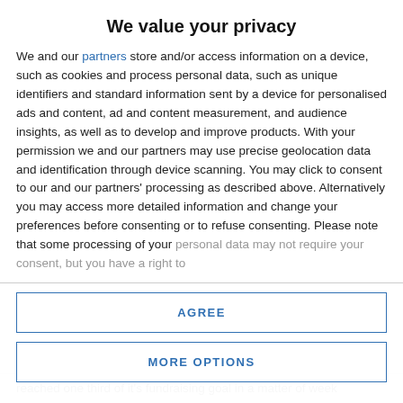We value your privacy
We and our partners store and/or access information on a device, such as cookies and process personal data, such as unique identifiers and standard information sent by a device for personalised ads and content, ad and content measurement, and audience insights, as well as to develop and improve products. With your permission we and our partners may use precise geolocation data and identification through device scanning. You may click to consent to our and our partners' processing as described above. Alternatively you may access more detailed information and change your preferences before consenting or to refuse consenting. Please note that some processing of your personal data may not require your consent, but you have a right to
AGREE
MORE OPTIONS
reached one third of it's fundraising goal in a matter of week